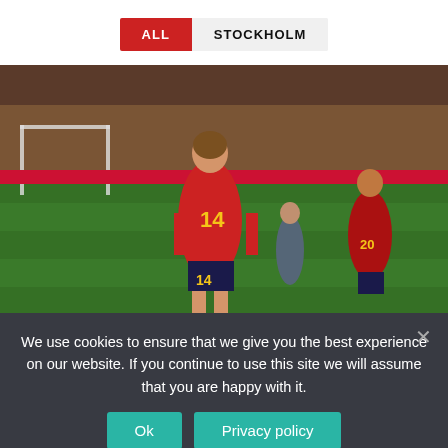[Figure (other): Tab bar with two buttons: 'ALL' (red/active) and 'STOCKHOLM' (grey/inactive)]
[Figure (photo): Women's football match photo showing a Spanish player wearing red jersey number 14 running on the pitch, with another Spanish player in background]
We use cookies to ensure that we give you the best experience on our website. If you continue to use this site we will assume that you are happy with it.
Ok
Privacy policy